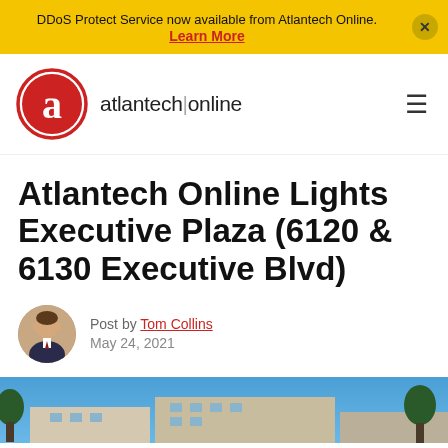DDoS Protect Service now available from Atlantech Online. Learn More
[Figure (logo): Atlantech Online logo: red circle with white letter 'a' and text 'atlantech|online']
Atlantech Online Lights Executive Plaza (6120 & 6130 Executive Blvd)
Post by Tom Collins
May 24, 2021
[Figure (photo): Exterior photo of Executive Plaza building under blue sky]